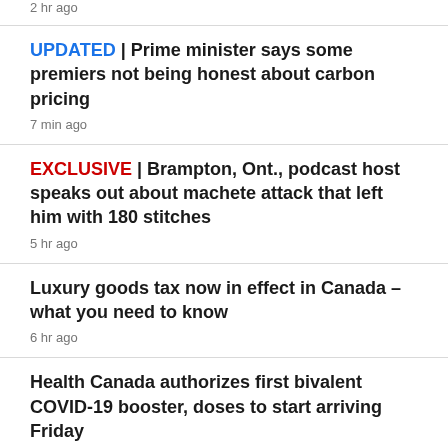2 hr ago
UPDATED | Prime minister says some premiers not being honest about carbon pricing
7 min ago
EXCLUSIVE | Brampton, Ont., podcast host speaks out about machete attack that left him with 180 stitches
5 hr ago
Luxury goods tax now in effect in Canada – what you need to know
6 hr ago
Health Canada authorizes first bivalent COVID-19 booster, doses to start arriving Friday
4 hr ago